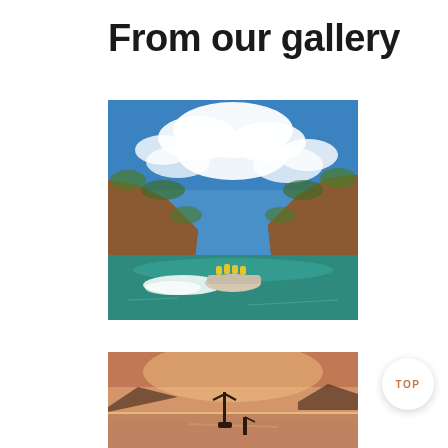From our gallery
[Figure (photo): A speedboat with passengers in yellow life jackets speeding through turquoise water in a dramatic gorge with red rocky cliffs and blue sky with white clouds above.]
[Figure (photo): A dusk or dawn scene over calm water with silhouettes of a boat or crane structure and rocky landscape in warm orange and pink tones.]